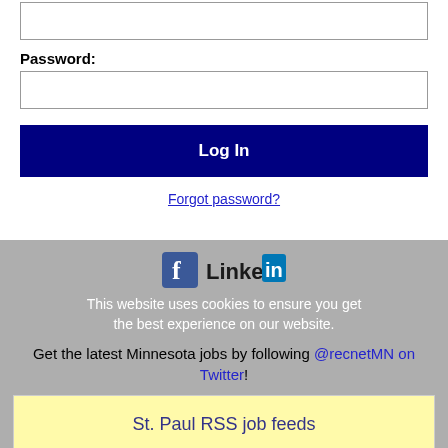[Figure (screenshot): Empty text input box (top of form, partially visible)]
Password:
[Figure (screenshot): Password input field (empty text box)]
[Figure (screenshot): Log In button - dark navy blue button with white text]
Forgot password?
[Figure (screenshot): Gray cookie/social overlay with Facebook and LinkedIn icons, cookie notice, Twitter follow text, and St. Paul RSS job feeds button]